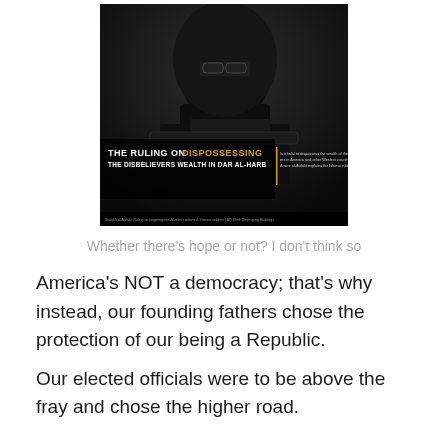[Figure (photo): Book or magazine cover showing a masked figure holding a weapon, with title text 'THE RULING ON DISPOSSESSING THE DISBELIEVERS WEALTH IN DAR AL-HARB' with a yellow/gold highlighted word 'DISPOSSESSING'. Small sidebar text and a footer bar at the bottom.]
Whether there's hope or not? I don't think so
America's NOT a democracy; that's why instead, our founding fathers chose the protection of our being a Republic.
Our elected officials were to be above the fray and chose the higher road.